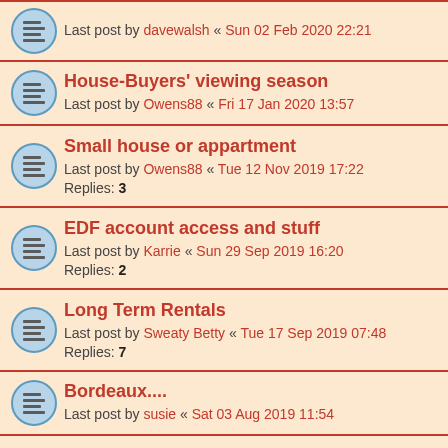Last post by davewalsh « Sun 02 Feb 2020 22:21
House-Buyers' viewing season
Last post by Owens88 « Fri 17 Jan 2020 13:57
Small house or appartment
Last post by Owens88 « Tue 12 Nov 2019 17:22
Replies: 3
EDF account access and stuff
Last post by Karrie « Sun 29 Sep 2019 16:20
Replies: 2
Long Term Rentals
Last post by Sweaty Betty « Tue 17 Sep 2019 07:48
Replies: 7
Bordeaux....
Last post by susie « Sat 03 Aug 2019 11:54
Complete Shower Cubicle
Last post by gleber « Fri 02 Aug 2019 09:22
Replies: 2
French Wills
Last post by Nigel Bright « Mon 24 Jun 2019 13:46